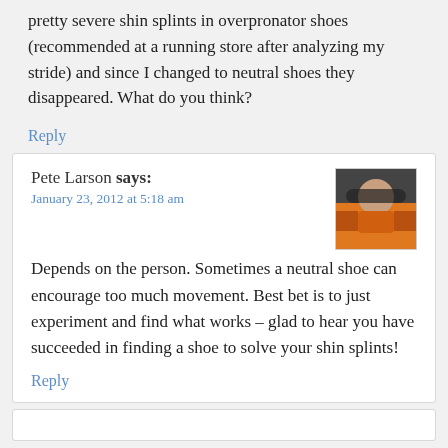pretty severe shin splints in overpronator shoes (recommended at a running store after analyzing my stride) and since I changed to neutral shoes they disappeared. What do you think?
Reply
Pete Larson says:
January 23, 2012 at 5:18 am
[Figure (photo): Avatar photo of Pete Larson, a person wearing a helmet and orange jacket]
Depends on the person. Sometimes a neutral shoe can encourage too much movement. Best bet is to just experiment and find what works – glad to hear you have succeeded in finding a shoe to solve your shin splints!
Reply